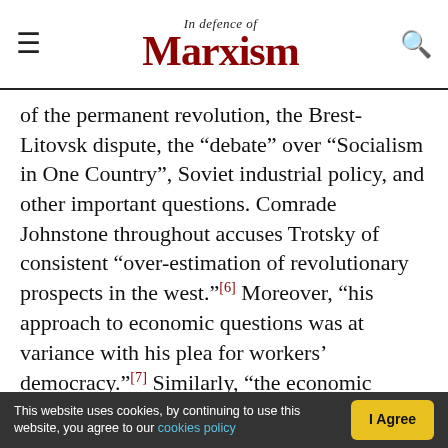In Defence of Marxism
of the permanent revolution, the Brest-Litovsk dispute, the “debate” over “Socialism in One Country”, Soviet industrial policy, and other important questions. Comrade Johnstone throughout accuses Trotsky of consistent “over-estimation of revolutionary prospects in the west.”[6] Moreover, “his approach to economic questions was at variance with his plea for workers’ democracy.”[7] Similarly, “the economic proposals of the Trotskyist Left Opposition, which envisaged funding industrialisation on the basis of unequal exchange with the peasantry – something which
This website uses cookies, by continuing to use this website, you agree to our cookies policy  I Agree